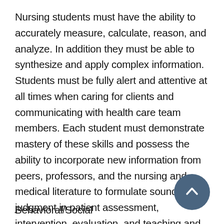Nursing students must have the ability to accurately measure, calculate, reason, and analyze. In addition they must be able to synthesize and apply complex information. Students must be fully alert and attentive at all times when caring for clients and communicating with health care team members. Each student must demonstrate mastery of these skills and possess the ability to incorporate new information from peers, professors, and the nursing and medical literature to formulate sound judgment in patient assessment, intervention, evaluation, and teaching and setting of short- and long-term goals.
Behavioral/Social